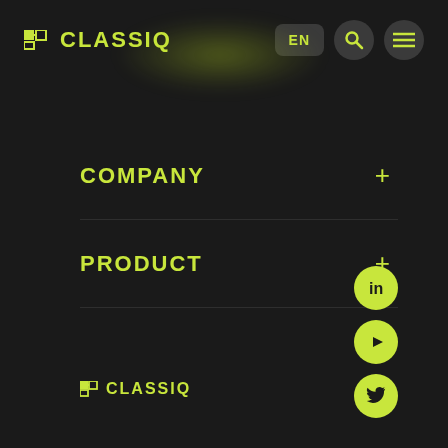CLASSIQ — EN, search, menu
COMPANY +
PRODUCT +
[Figure (logo): Classiq logo in lime green at bottom left]
[Figure (infographic): Social media icons: LinkedIn, YouTube, Twitter in lime green circles]